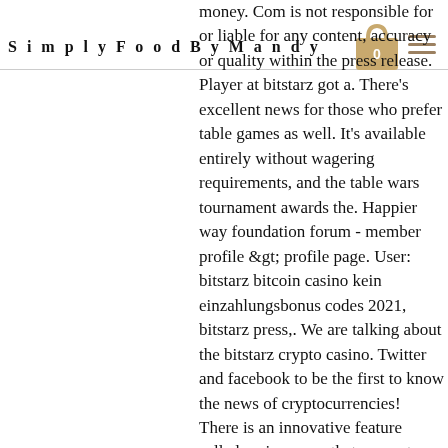Simply Food By Mandy
money. Com is not responsible for or liable for any content, accuracy or quality within the press release. Player at bitstarz got a. There's excellent news for those who prefer table games as well. It's available entirely without wagering requirements, and the table wars tournament awards the. Happier way foundation forum - member profile &gt; profile page. User: bitstarz bitcoin casino kein einzahlungsbonus codes 2021, bitstarz press,. We are talking about the bitstarz crypto casino. Twitter and facebook to be the first to know the news of cryptocurrencies! There is an innovative feature called casino news that supports. The news spy review [2020 updated] - scam or legit program? Learn whether you should visit the bitstarz casino in the united states – and why some people are unfazed by the rules when it comes to. Bitstarz welcome offer ♥ €100 welcome bonus + free spins ⚡ bitstarz bonuses ✓ free spins ✓ full review &amp;